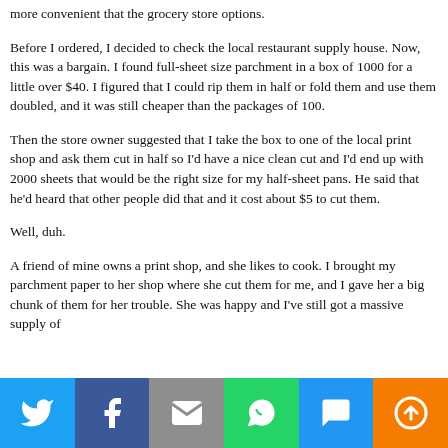more convenient that the grocery store options.
Before I ordered, I decided to check the local restaurant supply house. Now, this was a bargain. I found full-sheet size parchment in a box of 1000 for a little over $40. I figured that I could rip them in half or fold them and use them doubled, and it was still cheaper than the packages of 100.
Then the store owner suggested that I take the box to one of the local print shop and ask them cut in half so I'd have a nice clean cut and I'd end up with 2000 sheets that would be the right size for my half-sheet pans. He said that he'd heard that other people did that and it cost about $5 to cut them.
Well, duh.
A friend of mine owns a print shop, and she likes to cook. I brought my parchment paper to her shop where she cut them for me, and I gave her a big chunk of them for her trouble. She was happy and I've still got a massive supply of
[Figure (infographic): Social sharing bar with six buttons: Twitter (blue bird icon), Facebook (dark blue f icon), Email (grey envelope icon), WhatsApp (green phone icon), SMS (blue SMS bubble icon), More (orange circle arrow icon)]